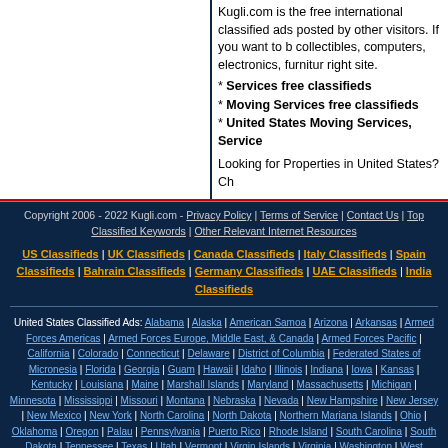Kugli.com is the free international classified ads posted by other visitors. If you want to buy collectibles, computers, electronics, furniture right site.
* Services free classifieds
* Moving Services free classifieds
* United States Moving Services, Service
Looking for Properties in United States? Ch
Copyright 2006 - 2022 Kugli.com - Privacy Policy | Terms of Service | Contact Us | Top Classified Keywords | Other Relevant Internet Resources
US Classifieds | UK Classifieds | Canada Classifieds | Italy Classifieds | Spain Classifieds | Bahrain Classifieds | Germany Classifieds | UAE Classifieds | India Classifieds
United States Classified Ads: Alabama | Alaska | American Samoa | Arizona | Arkansas | Armed Forces Americas | Armed Forces Europe, Middle East, & Canada | Armed Forces Pacific | California | Colorado | Connecticut | Delaware | District of Columbia | Federated States of Micronesia | Florida | Georgia | Guam | Hawaii | Idaho | Illinois | Indiana | Iowa | Kansas | Kentucky | Louisiana | Maine | Marshall Islands | Maryland | Massachusetts | Michigan | Minnesota | Mississippi | Missouri | Montana | Nebraska | Nevada | New Hampshire | New Jersey | New Mexico | New York | North Carolina | North Dakota | Northern Mariana Islands | Ohio | Oklahoma | Oregon | Palau | Pennsylvania | Puerto Rico | Rhode Island | South Carolina | South Dakota | Tennessee | Texas | Utah | Vermont | Virgin Islands | Virginia | Washington | West Virginia | Wisconsin | Wyoming